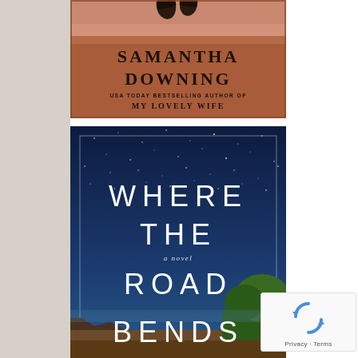[Figure (photo): Top portion of a book cover for a Samantha Downing novel. Shows a terracotta/red sandy background with feet/shoes at top, author name 'SAMANTHA DOWNING' in large serif letters, and text 'USA TODAY BESTSELLING AUTHOR OF MY LOVELY WIFE' below.]
[Figure (photo): Book cover for 'Where the Road Bends' by Samantha Downing. Dark night sky with stars background, white thin-spaced sans-serif letters spelling out WHERE / THE / ROAD / BENDS with 'a novel' in smaller text. Australian outback landscape with rocks and trees visible at bottom.]